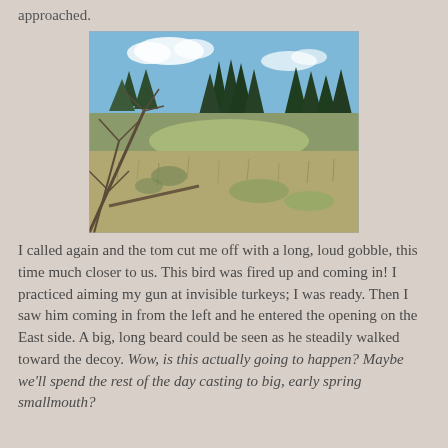approached.
[Figure (photo): Outdoor woodland scene in early spring: foreground shows scrubby bare-branched bushes and dry grass; middle ground has an open meadow clearing; background features tall dark green conifer trees under a partly cloudy blue sky.]
I called again and the tom cut me off with a long, loud gobble, this time much closer to us. This bird was fired up and coming in! I practiced aiming my gun at invisible turkeys; I was ready. Then I saw him coming in from the left and he entered the opening on the East side. A big, long beard could be seen as he steadily walked toward the decoy. Wow, is this actually going to happen? Maybe we'll spend the rest of the day casting to big, early spring smallmouth?